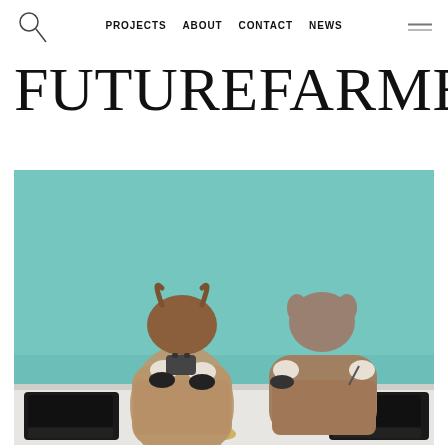PROJECTS  ABOUT  CONTACT  NEWS
FUTUREFARMERS
[Figure (photo): Two figures wearing animal masks (one bull, one pig/donkey) dressed in beige coats, seated at a white table with black typewriters on either side and a small golden bowl in the center, against a teal/mint colored background.]